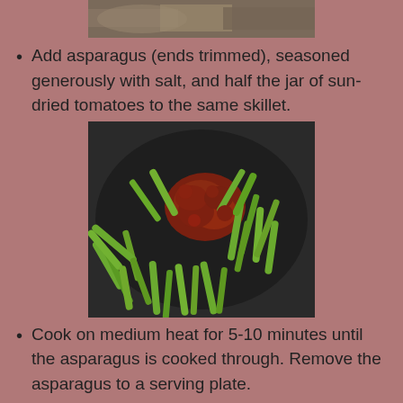[Figure (photo): Top portion of a food photo showing a dark skillet, partially cropped at the top of the page]
Add asparagus (ends trimmed), seasoned generously with salt, and half the jar of sun-dried tomatoes to the same skillet.
[Figure (photo): A dark skillet containing cut asparagus pieces and sun-dried tomatoes, viewed from above]
Cook on medium heat for 5-10 minutes until the asparagus is cooked through. Remove the asparagus to a serving plate.
Cook tortellini according to the package instructions